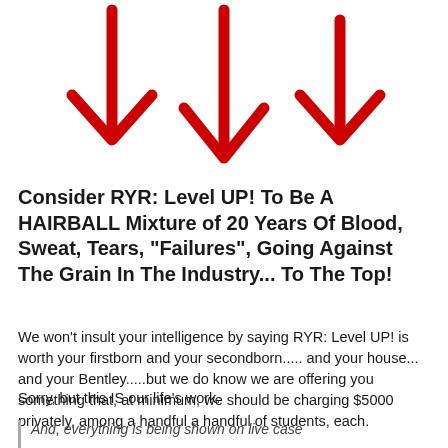[Figure (illustration): Three large red hand-drawn downward-pointing arrows arranged side by side at the top of the page]
Consider RYR: Level UP! To Be A HAIRBALL Mixture of 20 Years Of Blood, Sweat, Tears, "Failures", Going Against The Grain In The Industry... To The Top!
We won't insult your intelligence by saying RYR: Level UP! is worth your firstborn and your secondborn..... and your house... and your Bentley.....but we do know we are offering you something that, at minimum, we should be charging $5000 privately, among a handful a handful of students, each.
Sorry, but this IS our life's work.
And, everything is being shown on live case